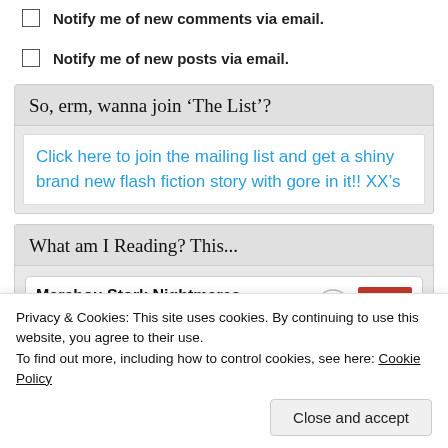Notify me of new comments via email.
Notify me of new posts via email.
So, erm, wanna join ‘The List’?
Click here to join the mailing list and get a shiny brand new flash fiction story with gore in it!! XX’s
What am I Reading? This...
Marabou Stork Nightmares
by Irvine Welsh
Privacy & Cookies: This site uses cookies. By continuing to use this website, you agree to their use.
To find out more, including how to control cookies, see here: Cookie Policy
Close and accept